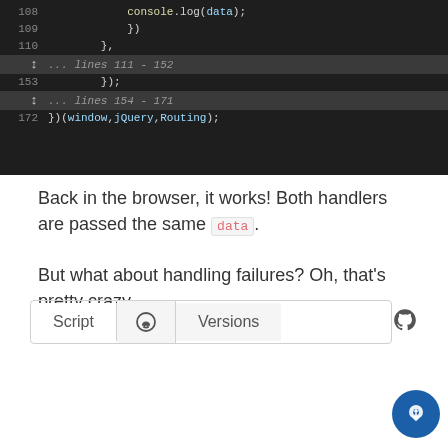[Figure (screenshot): Code editor screenshot showing lines 108-172 of JavaScript code with collapsed line ranges 111-152 and 154-171. Line 172 shows })(window, jQuery, Routing);]
Back in the browser, it works! Both handlers are passed the same data.
But what about handling failures? Oh, that's pretty crazy.
[Figure (screenshot): Navigation tab bar with Script, comment icon, and Versions tabs, plus a GitHub icon on the right]
[Figure (screenshot): Left back arrow navigation button and right forward arrow navigation button (dark blue). A light bulb chat icon in the bottom right corner.]